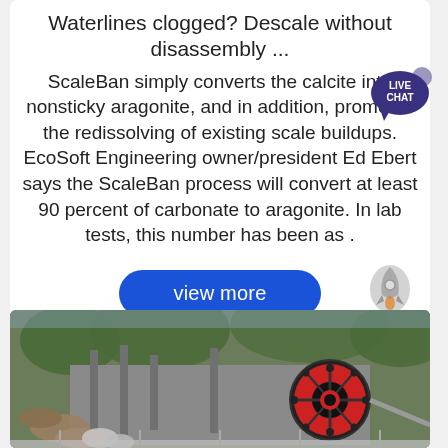Waterlines clogged? Descale without disassembly ...
ScaleBan simply converts the calcite into nonsticky aragonite, and in addition, promotes the redissolving of existing scale buildups. EcoSoft Engineering owner/president Ed Ebert says the ScaleBan process will convert at least 90 percent of carbonate to aragonite. In lab tests, this number has been as .
[Figure (photo): Industrial jaw crusher machine photographed outdoors with red flywheel, grey machinery components, logs and trees in background]